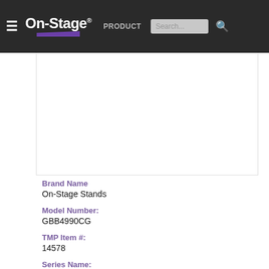On Stage | PRODUCTS | Search...
for ease of folding and unfolding.
Brand Name
On-Stage Stands
Model Number:
GBB4990CG
TMP Item #:
14578
Series Name: